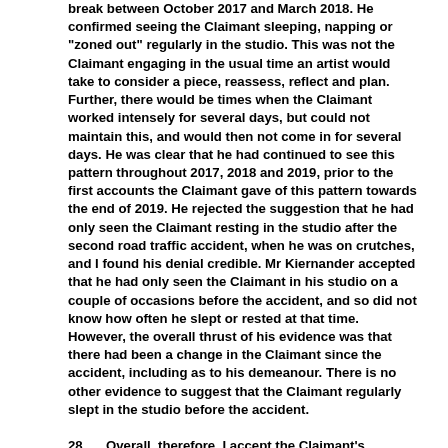break between October 2017 and March 2018. He confirmed seeing the Claimant sleeping, napping or "zoned out" regularly in the studio. This was not the Claimant engaging in the usual time an artist would take to consider a piece, reassess, reflect and plan. Further, there would be times when the Claimant worked intensely for several days, but could not maintain this, and would then not come in for several days. He was clear that he had continued to see this pattern throughout 2017, 2018 and 2019, prior to the first accounts the Claimant gave of this pattern towards the end of 2019. He rejected the suggestion that he had only seen the Claimant resting in the studio after the second road traffic accident, when he was on crutches, and I found his denial credible. Mr Kiernander accepted that he had only seen the Claimant in his studio on a couple of occasions before the accident, and so did not know how often he slept or rested at that time. However, the overall thrust of his evidence was that there had been a change in the Claimant since the accident, including as to his demeanour. There is no other evidence to suggest that the Claimant regularly slept in the studio before the accident.
28. Overall, therefore, I accept the Claimant's evidence that